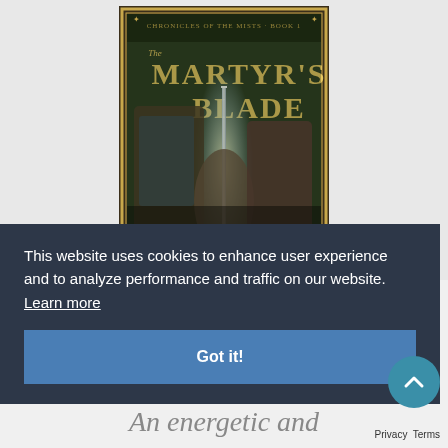[Figure (illustration): Book cover for 'The Martyr's Blade', Chronicles of the Mists Book 1, featuring fantasy artwork with three figures and a glowing sword against a dark forest background.]
This website uses cookies to enhance user experience and to analyze performance and traffic on our website. Learn more
Got it!
An energetic and